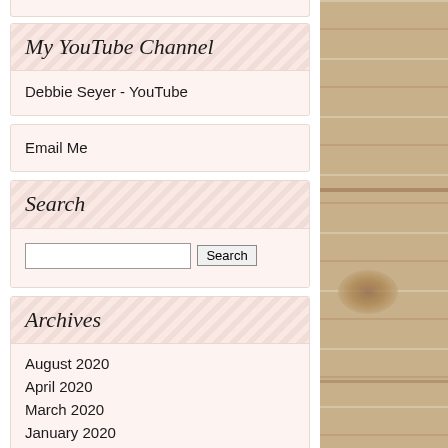My YouTube Channel
Debbie Seyer - YouTube
Email Me
Search
Archives
August 2020
April 2020
March 2020
January 2020
December 2019
November 2019
October 2019
[Figure (photo): Wooden plank background texture with visible grain and a knot]